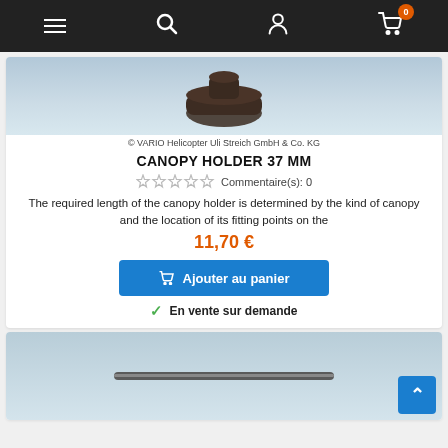Navigation bar with menu, search, account, and cart icons
[Figure (photo): Close-up photo of a canopy holder hardware piece against light blue background]
© VARIO Helicopter Uli Streich GmbH & Co. KG
CANOPY HOLDER 37 MM
☆☆☆☆☆ Commentaire(s): 0
The required length of the canopy holder is determined by the kind of canopy and the location of its fitting points on the
11,70 €
Ajouter au panier
En vente sur demande
[Figure (photo): Photo of a long thin cylindrical canopy holder rod against light blue background]